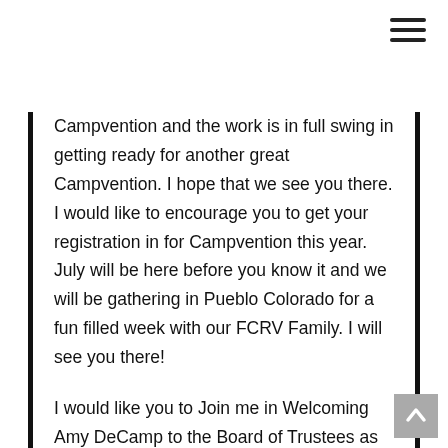[Figure (other): Hamburger menu icon (three horizontal lines) in top-right corner]
Campvention and the work is in full swing in getting ready for another great Campvention. I hope that we see you there. I would like to encourage you to get your registration in for Campvention this year. July will be here before you know it and we will be gathering in Pueblo Colorado for a fun filled week with our FCRV Family. I will see you there!
I would like you to Join me in Welcoming Amy DeCamp to the Board of Trustees as the VP of Planning and Development. Amy has a strong commercial background and joins us from FFCC. Amy is a great addition to FCRV. Amy has been instrumental in the FFCC camping family joining with FCRV. Her knowledge and perspective will be an